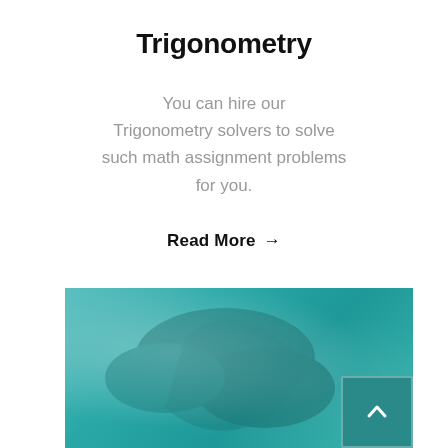Trigonometry
You can hire our Trigonometry solvers to solve such math assignment problems for you.
Read More →
[Figure (photo): Blurred teal/green background image with a scroll-to-top button in the bottom right corner showing a white chevron/caret upward arrow on a dark teal background.]